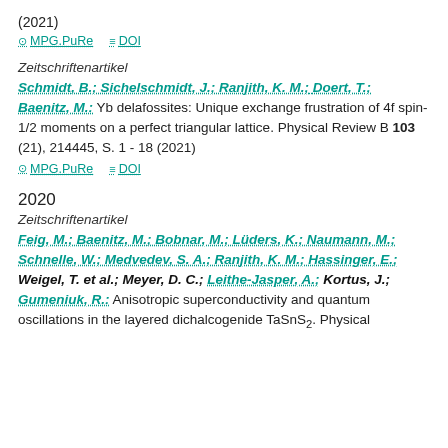(2021)
MPG.PuRe   DOI
Zeitschriftenartikel
Schmidt, B.; Sichelschmidt, J.; Ranjith, K. M.; Doert, T.; Baenitz, M.: Yb delafossites: Unique exchange frustration of 4f spin-1/2 moments on a perfect triangular lattice. Physical Review B 103 (21), 214445, S. 1 - 18 (2021)
MPG.PuRe   DOI
2020
Zeitschriftenartikel
Feig, M.; Baenitz, M.; Bobnar, M.; Lüders, K.; Naumann, M.; Schnelle, W.; Medvedev, S. A.; Ranjith, K. M.; Hassinger, E.; Weigel, T. et al.; Meyer, D. C.; Leithe-Jasper, A.; Kortus, J.; Gumeniuk, R.: Anisotropic superconductivity and quantum oscillations in the layered dichalcogenide TaSnS2. Physical